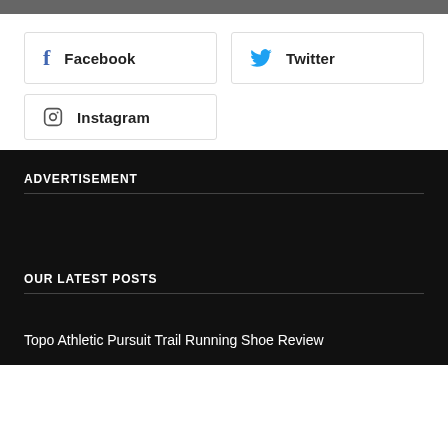[Figure (other): Dark gray top bar banner]
Facebook
Twitter
Instagram
ADVERTISEMENT
OUR LATEST POSTS
Topo Athletic Pursuit Trail Running Shoe Review